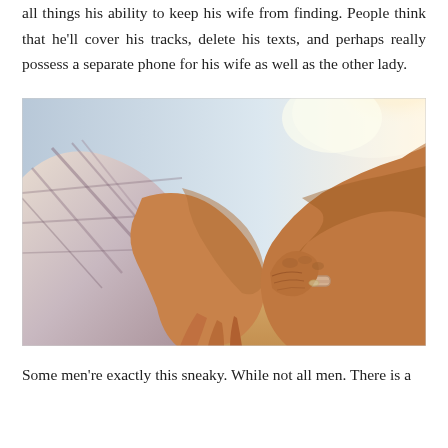all things his ability to keep his wife from finding. People think that he'll cover his tracks, delete his texts, and perhaps really possess a separate phone for his wife as well as the other lady.
[Figure (photo): Close-up photograph of two people holding hands — one wearing a plaid shirt sleeve and one with a bracelet — against a bright sunlit background.]
Some men're exactly this sneaky. While not all men. There is a